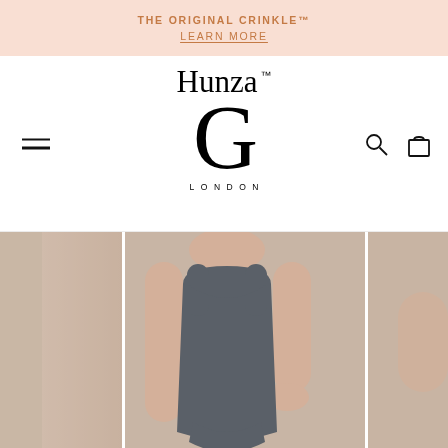THE ORIGINAL CRINKLE™ LEARN MORE
[Figure (logo): Hunza G London logo — serif brand name 'Hunza' with TM mark, large decorative 'G', and 'LONDON' in spaced caps below]
[Figure (photo): Model wearing a dark grey/charcoal crinkle swimsuit with scoop neck and tank straps, product carousel with partial images on left and right sides]